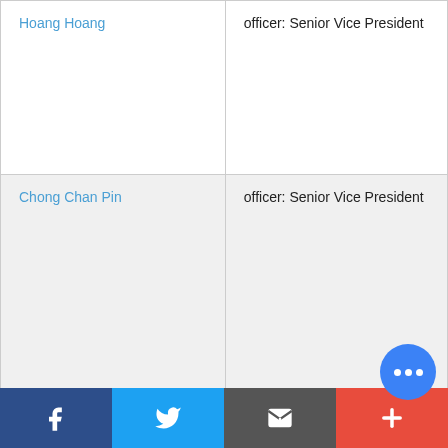| Name | Role |
| --- | --- |
| Hoang Hoang | officer: Senior Vice President |
| Chong Chan Pin | officer: Senior Vice President |
| Chen Fusen Ernie | director |